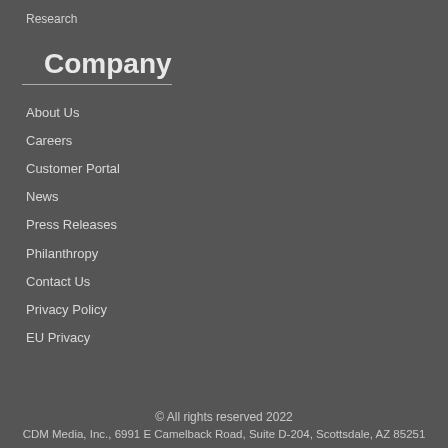Research
Company
About Us
Careers
Customer Portal
News
Press Releases
Philanthropy
Contact Us
Privacy Policy
EU Privacy
© All rights reserved 2022
CDM Media, Inc., 6991 E Camelback Road, Suite D-204, Scottsdale, AZ 85251